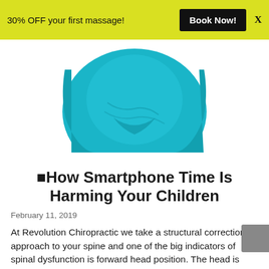30% OFF your first massage! Book Now! X
[Figure (photo): Close-up of a pregnant belly wearing a teal/turquoise dress, white background]
■How Smartphone Time Is Harming Your Children
February 11, 2019
At Revolution Chiropractic we take a structural correction approach to your spine and one of the big indicators of spinal dysfunction is forward head position. The head is